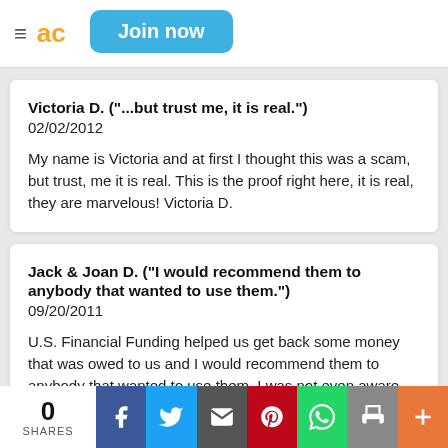Join now
Victoria D. ("...but trust me, it is real.")
02/02/2012
My name is Victoria and at first I thought this was a scam, but trust, me it is real. This is the proof right here, it is real, they are marvelous! Victoria D.
Jack & Joan D. ("I would recommend them to anybody that wanted to use them.")
09/20/2011
U.S. Financial Funding helped us get back some money that was owed to us and I would recommend them to anybody that wanted to use them. I was not even aware
0 SHARES